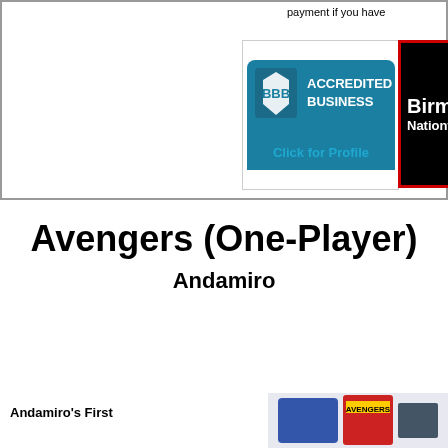payment if you have
[Figure (logo): BBB Accredited Business logo with 'Click for Profile' text on teal background]
[Figure (logo): Birmingham Nationwide Distributor banner on black background with red border]
Avengers (One-Player)
Andamiro
Andamiro's First
[Figure (photo): Partial view of Avengers arcade game cabinet at bottom right]